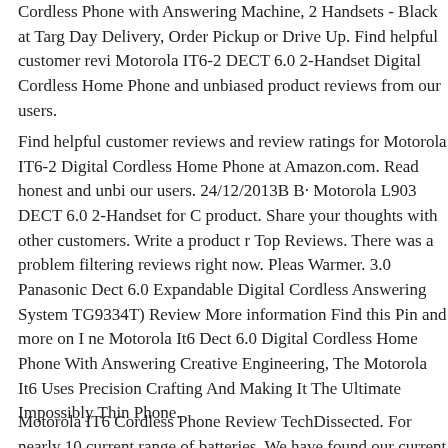Cordless Phone with Answering Machine, 2 Handsets - Black at Targ Day Delivery, Order Pickup or Drive Up. Find helpful customer revi Motorola IT6-2 DECT 6.0 2-Handset Digital Cordless Home Phone and unbiased product reviews from our users.
Find helpful customer reviews and review ratings for Motorola IT6-2 Digital Cordless Home Phone at Amazon.com. Read honest and unbi our users. 24/12/2013B B· Motorola L903 DECT 6.0 2-Handset for C product. Share your thoughts with other customers. Write a product r Top Reviews. There was a problem filtering reviews right now. Pleas Warmer. 3.0
Panasonic Dect 6.0 Expandable Digital Cordless Answering System TG9334T) Review More information Find this Pin and more on I ne Motorola It6 Dect 6.0 Digital Cordless Home Phone With Answering Creative Engineering, The Motorola It6 Uses Precision Crafting And Making It The Ultimate Impossibly Thin Phone.
Motorola IT6 Cordless Phone Review TechDissected. For nearly 10 current range of batteries. We have found our current suppliers to b